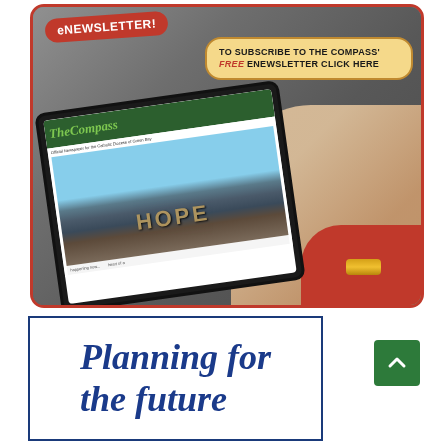[Figure (photo): Advertisement showing a person holding a tablet displaying The Compass eNewsletter website. A red badge reads 'eNEWSLETTER!' and a tan bubble reads 'TO SUBSCRIBE TO THE COMPASS' FREE eNEWSLETTER CLICK HERE'. The tablet shows The Compass website with a 'HOPE' headline image.]
[Figure (illustration): Advertisement with blue border showing italic serif text 'Planning for the future' in dark blue.]
[Figure (other): Green scroll-to-top button with upward chevron arrow.]